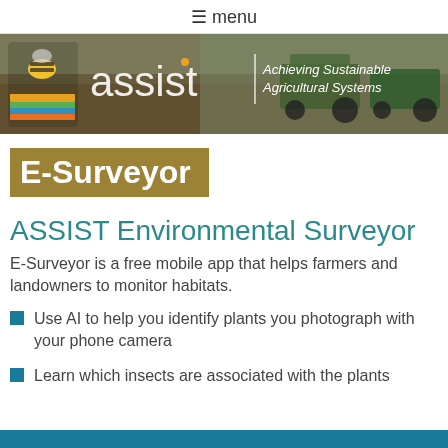≡ menu
[Figure (photo): ASSIST banner with bee logo, 'assist' text, 'Achieving Sustainable Agricultural Systems' tagline, and background image of tractors in a field]
E-Surveyor
ASSIST Environmental Surveyor
E-Surveyor is a free mobile app that helps farmers and landowners to monitor habitats.
Use AI to help you identify plants you photograph with your phone camera
Learn which insects are associated with the plants